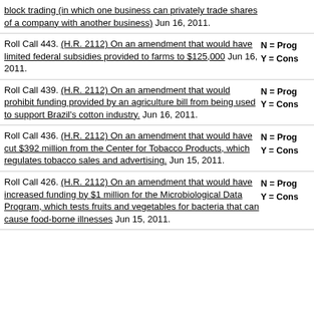block trading (in which one business can privately trade shares of a company with another business) Jun 16, 2011.
Roll Call 443. (H.R. 2112) On an amendment that would have limited federal subsidies provided to farms to $125,000 Jun 16, 2011. N = Prog Y = Cons
Roll Call 439. (H.R. 2112) On an amendment that would prohibit funding provided by an agriculture bill from being used to support Brazil's cotton industry. Jun 16, 2011. N = Prog Y = Cons
Roll Call 436. (H.R. 2112) On an amendment that would have cut $392 million from the Center for Tobacco Products, which regulates tobacco sales and advertising. Jun 15, 2011. N = Prog Y = Cons
Roll Call 426. (H.R. 2112) On an amendment that would have increased funding by $1 million for the Microbiological Data Program, which tests fruits and vegetables for bacteria that can cause food-borne illnesses Jun 15, 2011. N = Prog Y = Cons